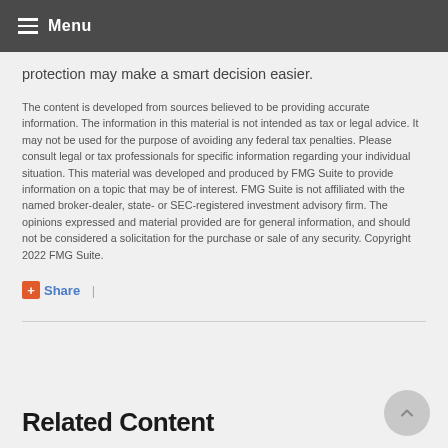Menu
protection may make a smart decision easier.
The content is developed from sources believed to be providing accurate information. The information in this material is not intended as tax or legal advice. It may not be used for the purpose of avoiding any federal tax penalties. Please consult legal or tax professionals for specific information regarding your individual situation. This material was developed and produced by FMG Suite to provide information on a topic that may be of interest. FMG Suite is not affiliated with the named broker-dealer, state- or SEC-registered investment advisory firm. The opinions expressed and material provided are for general information, and should not be considered a solicitation for the purchase or sale of any security. Copyright 2022 FMG Suite.
+ Share |
Related Content